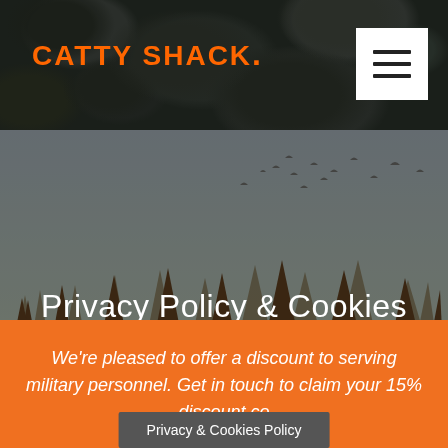[Figure (screenshot): Catty Shack website header with camouflage pattern background, orange logo text 'CATTY SHACK.' on left, white hamburger menu button on right]
Privacy Policy & Cookies
[Figure (photo): Forest scene with tall pine trees and birds flying in grey sky, used as hero background]
We're pleased to offer a discount to serving military personnel. Get in touch to claim your 15% discount co...
Privacy & Cookies Policy